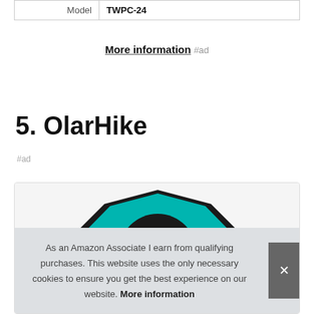|  |  |
| --- | --- |
| Model | TWPC-24 |
More information #ad
5. OlarHike
#ad
[Figure (photo): Product image of OlarHike item with teal and dark coloring]
As an Amazon Associate I earn from qualifying purchases. This website uses the only necessary cookies to ensure you get the best experience on our website. More information